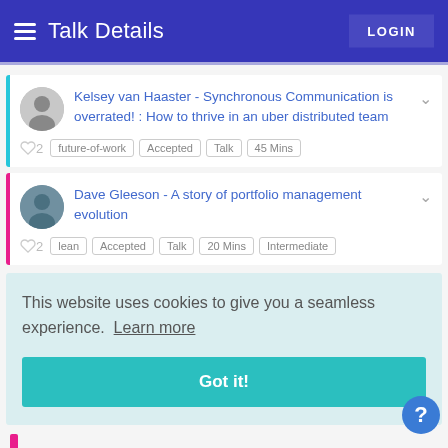Talk Details | LOGIN
Kelsey van Haaster - Synchronous Communication is overrated! : How to thrive in an uber distributed team
♡ 2  future-of-work  Accepted  Talk  45 Mins
Dave Gleeson - A story of portfolio management evolution
♡ 2  lean  Accepted  Talk  20 Mins  Intermediate
This website uses cookies to give you a seamless experience.  Learn more
Got it!